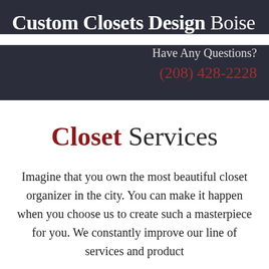Custom Closets Design Boise
Have Any Questions?
(208) 428-2228
Closet Services
Imagine that you own the most beautiful closet organizer in the city. You can make it happen when you choose us to create such a masterpiece for you. We constantly improve our line of services and product